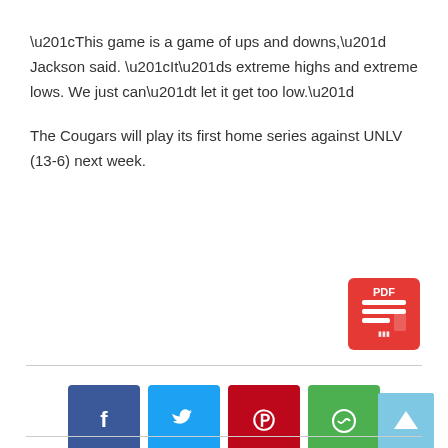“This game is a game of ups and downs,” Jackson said. “It’s extreme highs and extreme lows. We just can’t let it get too low.”
The Cougars will play its first home series against UNLV (13-6) next week.
[Figure (other): PDF icon - red square with document/PDF logo]
[Figure (other): Social sharing buttons: Facebook (blue), Twitter (cyan), Pinterest (red), WhatsApp (green)]
[Figure (other): Back to top button - light blue square with white upward arrow]